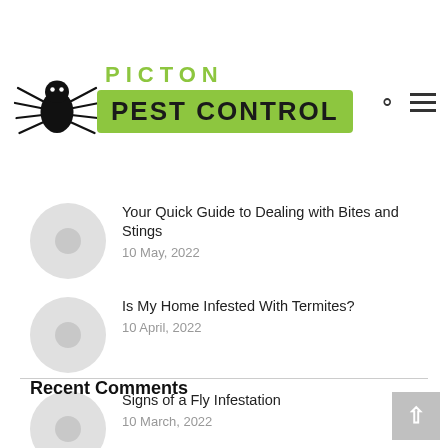[Figure (logo): Picton Pest Control logo with large black spider illustration and green text reading PICTON PEST CONTROL]
Your Quick Guide to Dealing with Bites and Stings
10 May, 2022
Is My Home Infested With Termites?
10 April, 2022
Signs of a Fly Infestation
10 March, 2022
Recent Comments